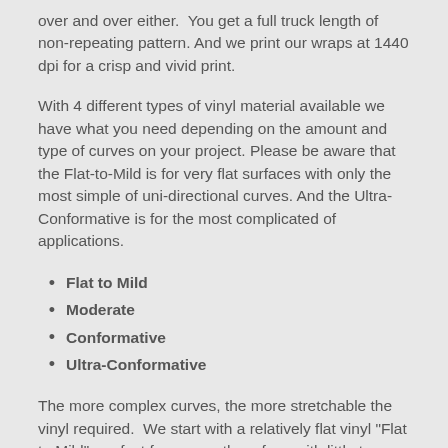over and over either.  You get a full truck length of non-repeating pattern. And we print our wraps at 1440 dpi for a crisp and vivid print.
With 4 different types of vinyl material available we have what you need depending on the amount and type of curves on your project. Please be aware that the Flat-to-Mild is for very flat surfaces with only the most simple of uni-directional curves. And the Ultra-Conformative is for the most complicated of applications.
Flat to Mild
Moderate
Conformative
Ultra-Conformative
The more complex curves, the more stretchable the vinyl required.  We start with a relatively flat vinyl "Flat to Mild", perfect for a smooth surface with little to no